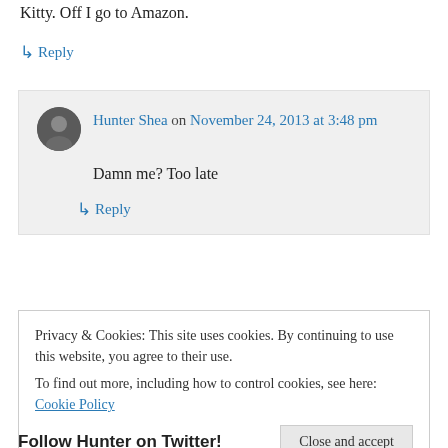Kitty. Off I go to Amazon.
↳ Reply
Hunter Shea on November 24, 2013 at 3:48 pm — Damn me? Too late
↳ Reply
Privacy & Cookies: This site uses cookies. By continuing to use this website, you agree to their use. To find out more, including how to control cookies, see here: Cookie Policy
Close and accept
Follow Hunter on Twitter!